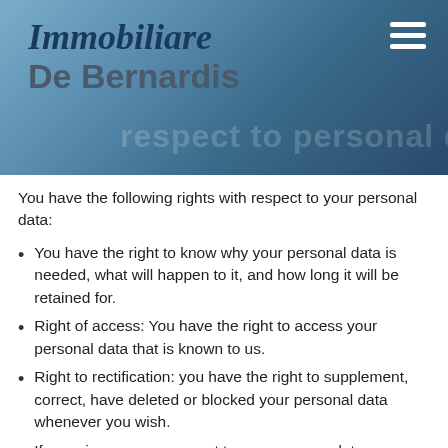Immobiliare De Bernardis
You have the following rights with respect to your personal data:
You have the right to know why your personal data is needed, what will happen to it, and how long it will be retained for.
Right of access: You have the right to access your personal data that is known to us.
Right to rectification: you have the right to supplement, correct, have deleted or blocked your personal data whenever you wish.
If you give us your consent to process your data, you have the right to revoke that consent and to have your personal data deleted.
Right to transfer your data: you have the right to request all your personal data from the controller and transfer it in its entirety to another controller.
Right to object: you may object to the processing of your data. We comply with this, unless there are justified grounds